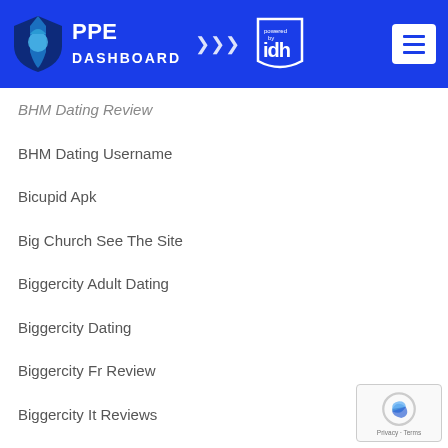PPE DASHBOARD powered by IDH
BHM Dating Review
BHM Dating Username
Bicupid Apk
Big Church See The Site
Biggercity Adult Dating
Biggercity Dating
Biggercity Fr Review
Biggercity It Reviews
Biggercity Review